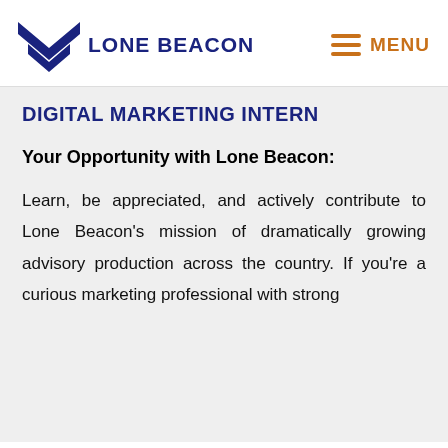[Figure (logo): Lone Beacon logo with dark blue chevron/arrow shape and text 'LONE BEACON']
[Figure (other): Menu icon with three orange horizontal lines and orange text 'MENU']
DIGITAL MARKETING INTERN
Your Opportunity with Lone Beacon:
Learn, be appreciated, and actively contribute to Lone Beacon's mission of dramatically growing advisory production across the country. If you're a curious marketing professional with strong